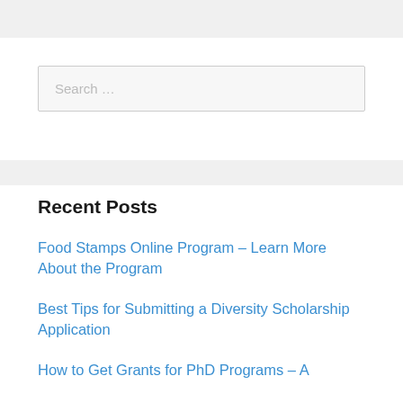Search …
Recent Posts
Food Stamps Online Program – Learn More About the Program
Best Tips for Submitting a Diversity Scholarship Application
How to Get Grants for PhD Programs – A